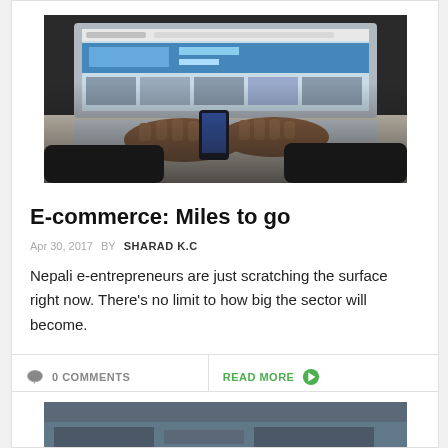[Figure (photo): Person's hands typing on a laptop computer, laptop screen showing a website]
E-commerce: Miles to go
Apr 30, 2017  BY  SHARAD K.C
Nepali e-entrepreneurs are just scratching the surface right now. There's no limit to how big the sector will become.
0 COMMENTS
READ MORE
[Figure (photo): Partial view of another article's photo at the bottom of the page]